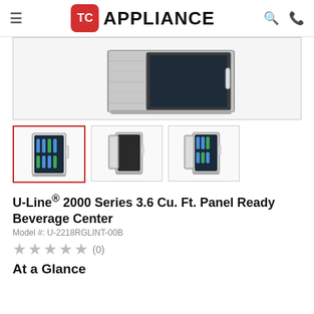TC APPLIANCE
[Figure (photo): Main product photo of U-Line beverage center refrigerator with stainless steel finish, partially visible top angle]
[Figure (photo): Thumbnail 1: Beverage center with glass door closed, front view]
[Figure (photo): Thumbnail 2: Beverage center with door open, empty interior]
[Figure (photo): Thumbnail 3: Beverage center with door open showing bottles inside]
U-Line® 2000 Series 3.6 Cu. Ft. Panel Ready Beverage Center
Model #: U-2218RGLINT-00B
★★★★★ (0)
At a Glance